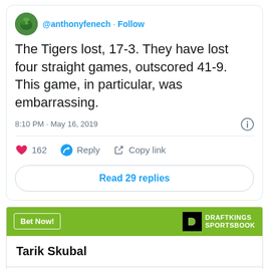@anthonyfenech · Follow
The Tigers lost, 17-3. They have lost four straight games, outscored 41-9. This game, in particular, was embarrassing.
8:10 PM · May 16, 2019
162  Reply  Copy link
Read 29 replies
Bet Now!
DRAFTKINGS SPORTSBOOK
Tarik Skubal
+10000